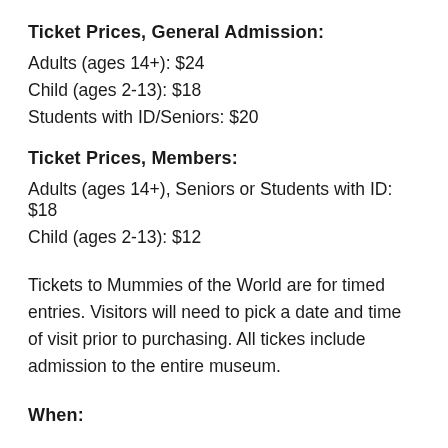Ticket Prices, General Admission:
Adults (ages 14+): $24
Child (ages 2-13): $18
Students with ID/Seniors: $20
Ticket Prices, Members:
Adults (ages 14+), Seniors or Students with ID: $18
Child (ages 2-13): $12
Tickets to Mummies of the World are for timed entries. Visitors will need to pick a date and time of visit prior to purchasing. All tickes include admission to the entire museum.
When: